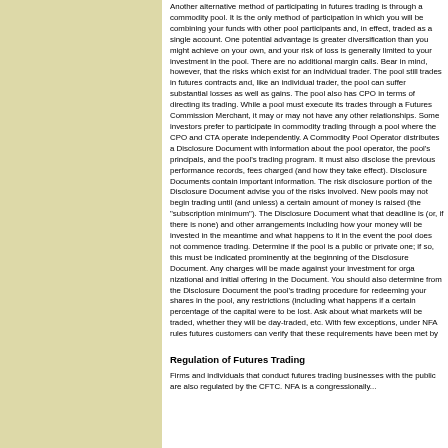Another alternative method of participating in futures trading is through a commodity pool. It is the only method of participation in which you will be combining your funds with other pool participants and, in effect, traded as a single account. One potential advantage is greater diversification than you might achieve on your own, and your risk of loss is generally limited to your investment in the pool. There are no additional margin calls. Bear in mind, however, that the risks which exist for an individual trader. The pool still trades in futures contracts and suffers losses as an individual trader, the pool can suffer substantial losses as well as gains. The pool also has CPO in terms of directing its trading. While a pool must execute its trades through a Futures Commission Merchant, it may or may not have any other relationships. Some investors prefer to participate in commodity trading through a pool where the CPO and CTA operate independently. A Commodity Pool Operator distributes a Disclosure Document with information about the pool operator, the pool's principals, and the pool's trading program. It must also disclose the previous performance records, fees charged (and how they take effect). Disclosure Documents contain important information. The risk disclosure portion of the Disclosure Document advise you of the risks involved. New pools may not begin trading until (and unless) a certain amount of money is raised (the "subscription minimum"). The Disclosure Document what that deadline is (or, if there is none) and other arrangements including how your money will be invested in the meantime and what happens to it in the event the pool does not commence trading. Determine if the pool is a public or private one; if so, this must be indicated prominently at the beginning of the Disclosure Document. Any charges will be made against your investment for organizational and initial offering in the Document. You should also determine from the Disclosure Document the pool's trading procedure for redeeming your shares in the pool, any restrictions (including what happens if a certain percentage of the capital were to be lost. Ask about what markets will be traded, whether they will be day-traded, etc. With few exceptions, under NFA rules futures customers can verify that these requirements have been met by
Regulation of Futures Trading
Firms and individuals that conduct futures trading business with the public are also regulated by the CFTC. NFA is a congressional...